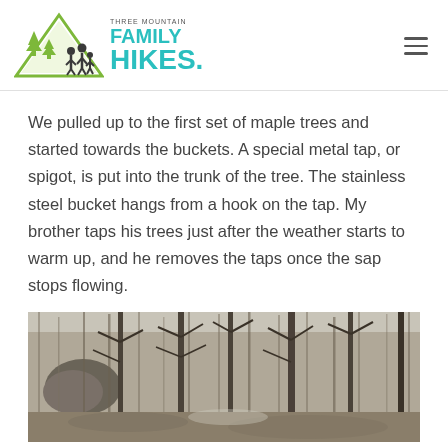Three Mountain Family Hikes
We pulled up to the first set of maple trees and started towards the buckets. A special metal tap, or spigot, is put into the trunk of the tree. The stainless steel bucket hangs from a hook on the tap. My brother taps his trees just after the weather starts to warm up, and he removes the taps once the sap stops flowing.
[Figure (photo): A winter forest scene showing bare deciduous trees with branches, a large rock or boulder visible on the left side, and a dense wooded background with no leaves on the trees.]